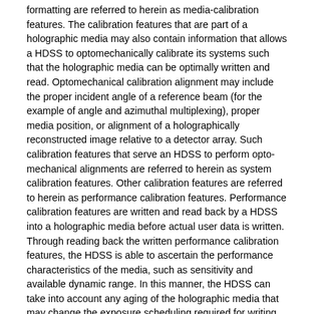formatting are referred to herein as media-calibration features. The calibration features that are part of a holographic media may also contain information that allows a HDSS to optomechanically calibrate its systems such that the holographic media can be optimally written and read. Optomechanical calibration alignment may include the proper incident angle of a reference beam (for the example of angle and azimuthal multiplexing), proper media position, or alignment of a holographically reconstructed image relative to a detector array. Such calibration features that serve an HDSS to perform opto-mechanical alignments are referred to herein as system calibration features. Other calibration features are referred to herein as performance calibration features. Performance calibration features are written and read back by a HDSS into a holographic media before actual user data is written. Through reading back the written performance calibration features, the HDSS is able to ascertain the performance characteristics of the media, such as sensitivity and available dynamic range. In this manner, the HDSS can take into account any aging of the holographic media that may change the exposure scheduling required for writing multiplexed holograms as well as the available capacity of the holographic media.
In all of the above embodiments, such calibration features may be located on or within the media at predefined locations. These locations will allow different holographic systems of the present invention to locate and retrieve the calibration features. The calibration features may also, or instead, be